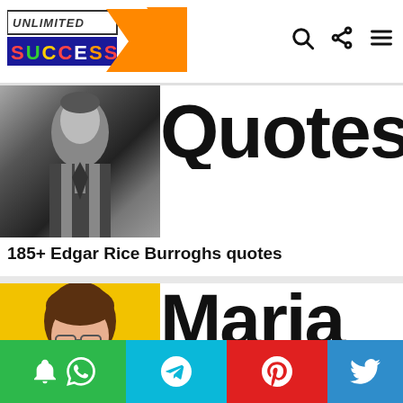Unlimited Success - website header with logo and navigation icons
[Figure (screenshot): Unlimited Success logo with orange arrow and colorful SUCCESS text on dark blue background]
[Figure (photo): Black and white photo of Edgar Rice Burroughs in suit]
Quote
185+ Edgar Rice Burroghs quotes
[Figure (photo): Color photo of a woman with short brown hair smiling, on yellow background - Maria]
Maria
Social share bar with bell notification, WhatsApp, Telegram, Pinterest, Twitter icons